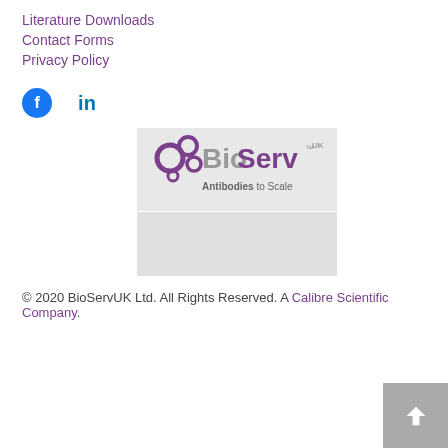Literature Downloads
Contact Forms
Privacy Policy
[Figure (logo): BioServ UK logo with purple ring molecule graphic and text 'BioServ UK Antibodies to Scale' on grey background]
[Figure (other): Grey placeholder/advertisement box]
© 2020 BioServUK Ltd. All Rights Reserved. A Calibre Scientific Company.